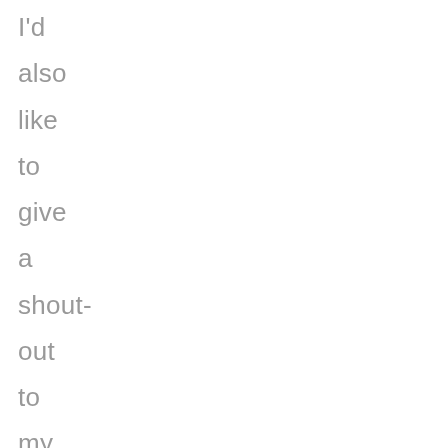I'd also like to give a shout-out to my favorit part of Bieber rap:
““